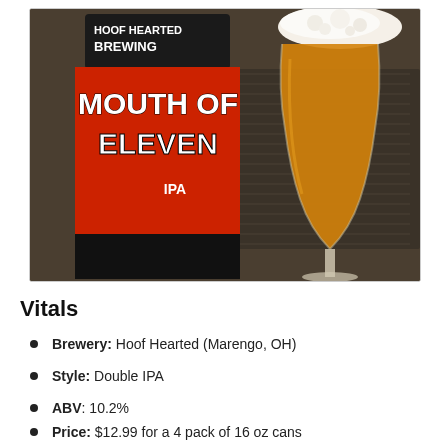[Figure (photo): Photo of a Hoof Hearted Brewing 'Mouth of Eleven' Double IPA can next to a tulip glass filled with hazy orange beer with a white foam head. The can has a black top with white brewery name and a red label with white stylized text reading 'MOUTH OF ELEVEN IPA'. Background shows what appears to be a guitar amplifier.]
Vitals
Brewery: Hoof Hearted (Marengo, OH)
Style: Double IPA
ABV: 10.2%
Price: $12.99 for a 4 pack of 16 oz cans